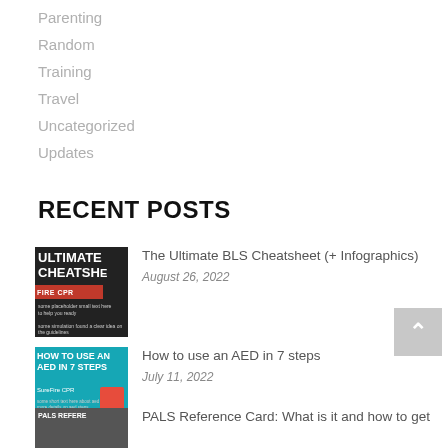Parenting
Random
Training
Travel
Uncategorized
Updates
RECENT POSTS
[Figure (photo): Thumbnail for Ultimate BLS Cheatsheet article showing dark background with white bold text ULTIMATE CHEATSHEET and red FIRE CPR bar]
The Ultimate BLS Cheatsheet (+ Infographics)
August 26, 2022
[Figure (photo): Thumbnail for AED article showing teal background with white text HOW TO USE AN AED IN 7 STEPS and SureFire CPR branding]
How to use an AED in 7 steps
July 11, 2022
[Figure (photo): Thumbnail for PALS Reference Card article showing dark background with PALS REFERE text]
PALS Reference Card: What is it and how to get